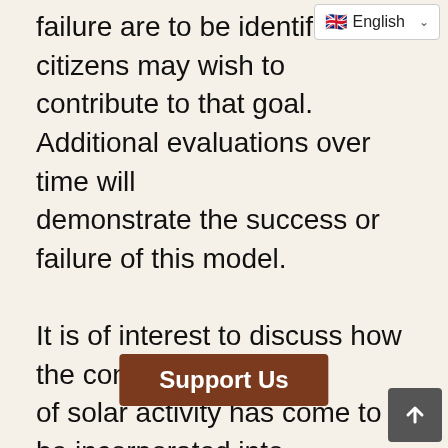failure are to be identified and citizens may wish to contribute to that goal. Additional evaluations over time will demonstrate the success or failure of this model.

It is of interest to discuss how the consideration of solar activity has come to be incorporated into this model in addition to the previous consideration of relative humidity alone. This brings to attention the events of and surrounding July 27 of this year. Observations of aerosol activity prior to this date, especially during the months of June and the first half of July 2002 appeared to be declining based upon commonly used reporting sources. During the last week of July, this appeared reports suddenly
[Figure (screenshot): Language selector UI element showing English with a flag icon and dropdown chevron]
[Figure (screenshot): Support Us brown banner overlay at bottom of page]
[Figure (screenshot): Scroll to top button (grey box with upward arrow) in bottom right corner]